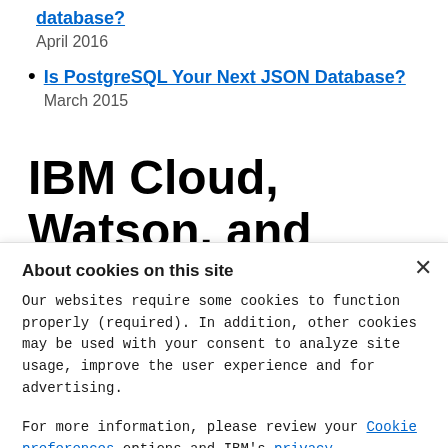database? April 2016
Is PostgreSQL Your Next JSON Database? March 2015
IBM Cloud, Watson, and
About cookies on this site
Our websites require some cookies to function properly (required). In addition, other cookies may be used with your consent to analyze site usage, improve the user experience and for advertising.

For more information, please review your Cookie preferences options and IBM's privacy
Required only
Accept all